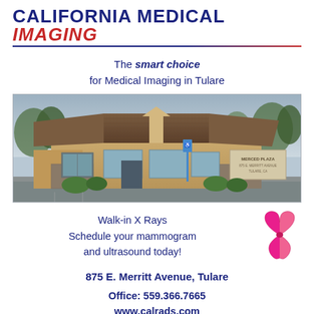CALIFORNIA MEDICAL IMAGING
The smart choice for Medical Imaging in Tulare
[Figure (photo): Exterior photo of California Medical Imaging building at Merced Plaza, a tan stucco building with a brown tiled roof, stone accents, large windows, and trees in the background.]
Walk-in X Rays
Schedule your mammogram and ultrasound today!
875 E. Merritt Avenue, Tulare
Office: 559.366.7665
www.calrads.com